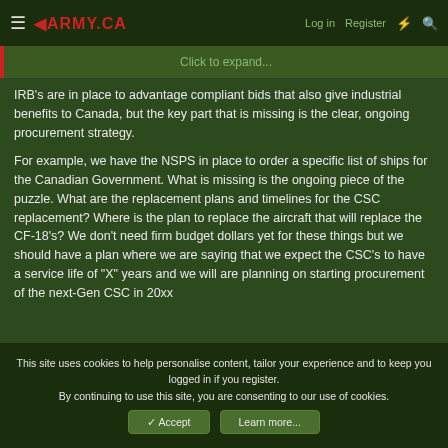1ARMY.CA  Log in  Register
Click to expand...
IRB's are in place to advantage compliant bids that also give industrial benefits to Canada, but the key part that is missing is the clear, ongoing procurement strategy.
For example, we have the NSPS in place to order a specific list of ships for the Canadian Government. What is missing is the ongoing piece of the puzzle. What are the replacement plans and timelines for the CSC replacement? Where is the plan to replace the aircraft that will replace the CF-18's? We don't need firm budget dollars yet for these things but we should have a plan where we are saying that we expect the CSC's to have a service life of "X" years and we will are planning on starting procurement of the next-Gen CSC in 20xx
This site uses cookies to help personalise content, tailor your experience and to keep you logged in if you register.
By continuing to use this site, you are consenting to our use of cookies.